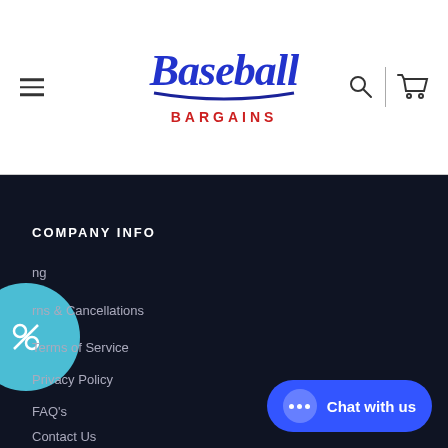Baseball Bargains - navigation header with hamburger menu, logo, search and cart icons
COMPANY INFO
ng
rns & Cancellations
Terms of Service
Privacy Policy
FAQ's
Contact Us